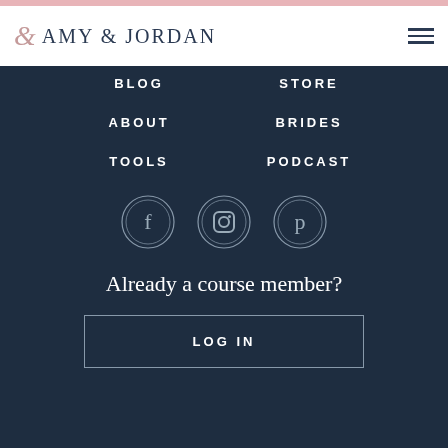Amy & Jordan
BLOG
STORE
ABOUT
BRIDES
TOOLS
PODCAST
[Figure (illustration): Three circular social media icons: Facebook, Instagram, Pinterest]
Already a course member?
LOG IN